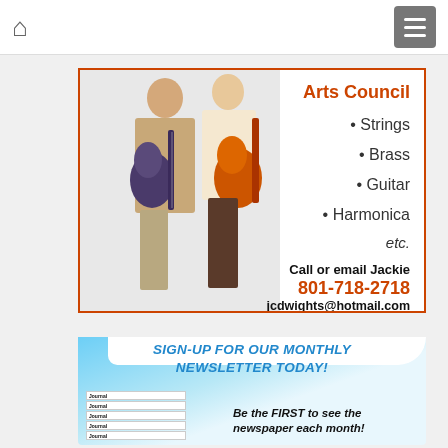Home | Menu navigation bar
[Figure (photo): Advertisement for Arts Council music lessons. Two people holding electric guitars. Lists: Strings, Brass, Guitar, Harmonica, etc. Contact: Call or email Jackie, 801-718-2718, jcdwights@hotmail.com]
[Figure (infographic): Newsletter sign-up advertisement. Text: SIGN-UP FOR OUR MONTHLY NEWSLETTER TODAY! Shows stacked Journal newspaper images. Text: Be the FIRST to see the newspaper each month!]